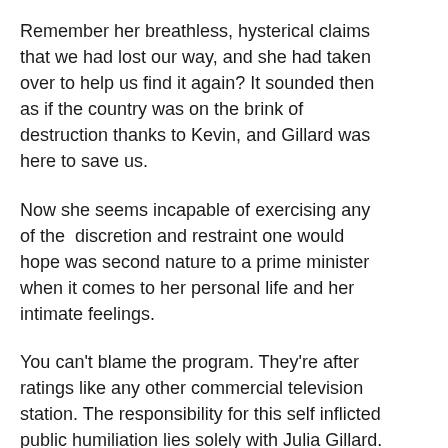Remember her breathless, hysterical claims that we had lost our way, and she had taken over to help us find it again? It sounded then as if the country was on the brink of destruction thanks to Kevin, and Gillard was here to save us.
Now she seems incapable of exercising any of the discretion and restraint one would hope was second nature to a prime minister when it comes to her personal life and her intimate feelings.
You can't blame the program. They're after ratings like any other commercial television station. The responsibility for this self inflicted public humiliation lies solely with Julia Gillard. Its a timely reflection on her lack of judgement, her lack of wisdom, her lack of character, and her increasing desperation about her plummeting popularity, that she now